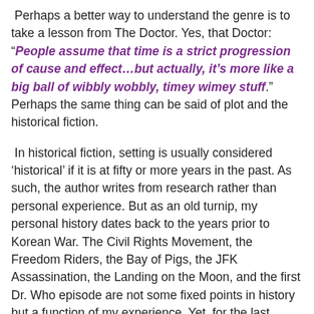Perhaps a better way to understand the genre is to take a lesson from The Doctor. Yes, that Doctor: “People assume that time is a strict progression of cause and effect…but actually, it’s more like a big ball of wibbly wobbly, timey wimey stuff.” Perhaps the same thing can be said of plot and the historical fiction.
In historical fiction, setting is usually considered ‘historical’ if it is at fifty or more years in the past. As such, the author writes from research rather than personal experience. But as an old turnip, my personal history dates back to the years prior to Korean War. The Civil Rights Movement, the Freedom Riders, the Bay of Pigs, the JFK Assassination, the Landing on the Moon, and the first Dr. Who episode are not some fixed points in history but a function of my experience. Yet, for the last generations, these are often just dates in a textbook. And the plot is a linear expression that begins on a certain date. The award-winning book, The Watsons Go to Birmingham by Christopher Paul Curtis (1995), depicting the Birmingham, Alabama church bombing of 1963, is often listed as historical fiction. Yet I remember vividly watching the